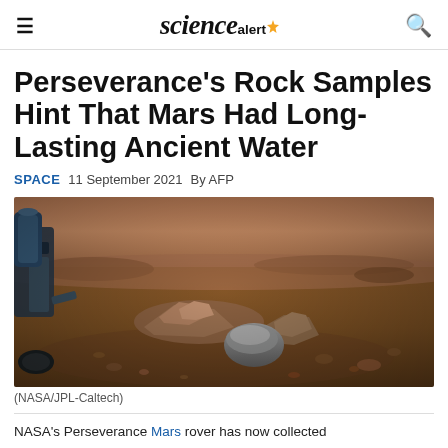≡  sciencealert✦  🔍
Perseverance's Rock Samples Hint That Mars Had Long-Lasting Ancient Water
SPACE  11 September 2021  By AFP
[Figure (photo): Perseverance Mars rover on the Martian surface near rocks, with the rover arm and wheel visible on the left side. Reddish-brown terrain with scattered rocks and boulders.]
(NASA/JPL-Caltech)
NASA's Perseverance Mars rover has now collected